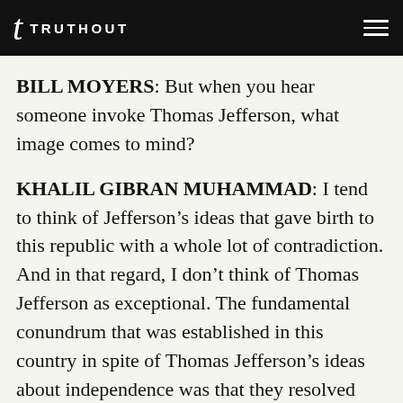TRUTHOUT
BILL MOYERS: But when you hear someone invoke Thomas Jefferson, what image comes to mind?
KHALIL GIBRAN MUHAMMAD: I tend to think of Jefferson’s ideas that gave birth to this republic with a whole lot of contradiction. And in that regard, I don’t think of Thomas Jefferson as exceptional. The fundamental conundrum that was established in this country in spite of Thomas Jefferson’s ideas about independence was that they resolved that slavery would exist